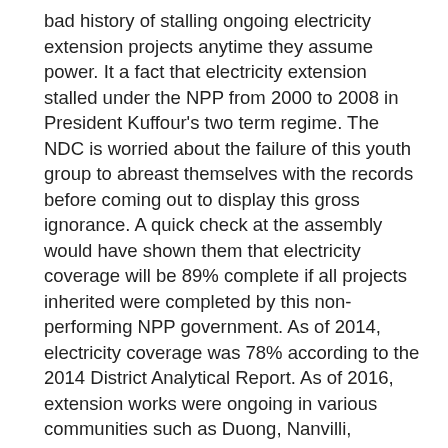bad history of stalling ongoing electricity extension projects anytime they assume power. It a fact that electricity extension stalled under the NPP from 2000 to 2008 in President Kuffour's two term regime. The NDC is worried about the failure of this youth group to abreast themselves with the records before coming out to display this gross ignorance. A quick check at the assembly would have shown them that electricity coverage will be 89% complete if all projects inherited were completed by this non-performing NPP government. As of 2014, electricity coverage was 78% according to the 2014 District Analytical Report. As of 2016, extension works were ongoing in various communities such as Duong, Nanvilli, Charikpong, Nator, Goli, Sankana, Takpo and Jang. New projects included Kaluri, Penitobo, Janguasi, and Kanyinguasi. Unfortunately, the NDC lost power and these projects have all stalled. The government, in two years have failed to add a single megawatt to the national grid, therefore unable to even switch on lights for communities such as Kaluri, Kanyinguasi, Pennitobo etc which are all connected to the national grid as at 2016. In some of these communities, due to the insensitivity of President Akuffo Addo and the NPP government, poles distributed to them are not being erected. All